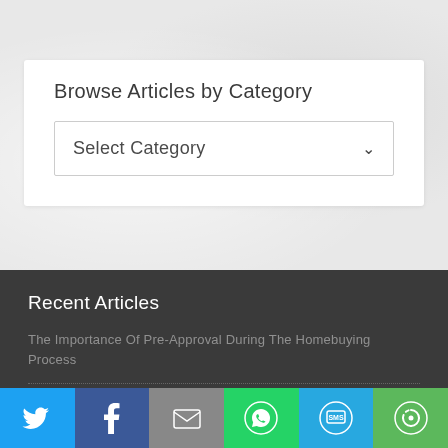Browse Articles by Category
Select Category
Recent Articles
The Importance Of Pre-Approval During The Homebuying Process
[Figure (screenshot): Social share bar with Twitter, Facebook, Email, WhatsApp, SMS, and more buttons]